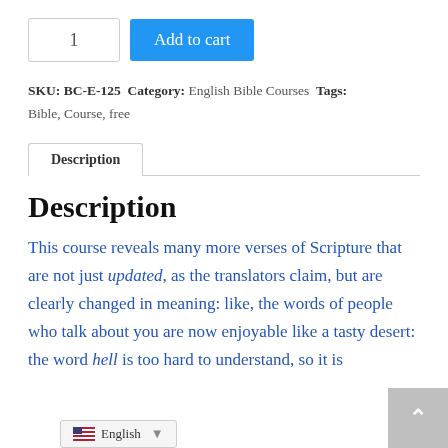1  Add to cart
SKU: BC-E-125  Category: English Bible Courses  Tags: Bible, Course, free
Description
Description
This course reveals many more verses of Scripture that are not just updated, as the translators claim, but are clearly changed in meaning: like, the words of people who talk about you are now enjoyable like a tasty desert: the word hell is too hard to understand, so it is ...spelled sound for sound in